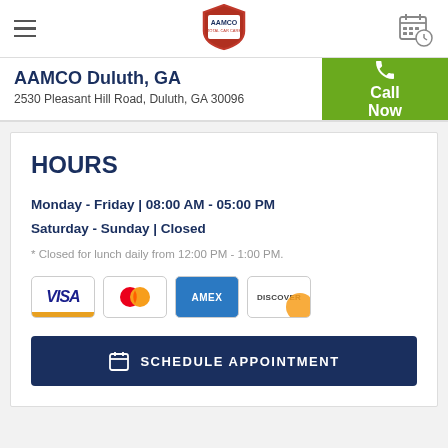AAMCO logo navigation bar with hamburger menu and calendar icon
AAMCO Duluth, GA
2530 Pleasant Hill Road, Duluth, GA 30096
HOURS
Monday - Friday | 08:00 AM - 05:00 PM
Saturday - Sunday | Closed
* Closed for lunch daily from 12:00 PM - 1:00 PM.
[Figure (logo): Payment method icons: Visa, Mastercard, Amex, Discover]
SCHEDULE APPOINTMENT